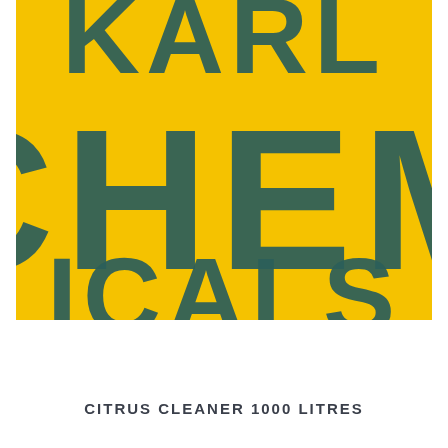[Figure (logo): Close-up of a yellow product container label showing large bold teal letters spelling partial text 'CHEM' with additional letters cut off at edges, on a bright yellow textured background.]
CITRUS CLEANER 1000 LITRES